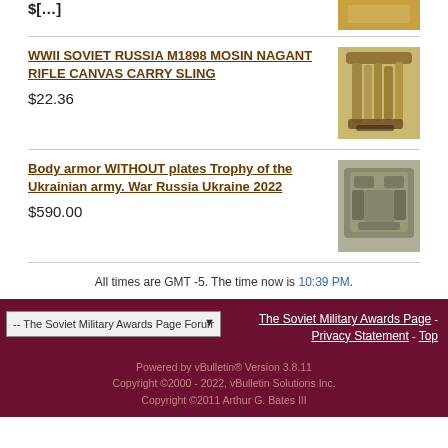$[price truncated]
[Figure (photo): Partial product image visible at top, cropped]
WWII SOVIET RUSSIA M1898 MOSIN NAGANT RIFLE CANVAS CARRY SLING
$22.36
[Figure (photo): Tan canvas rifle sling with brown leather buckle]
Body armor WITHOUT plates Trophy of the Ukrainian army. War Russia Ukraine 2022
$590.00
[Figure (photo): Military body armor carrier without plates, camouflage pattern]
All times are GMT -5. The time now is 10:39 PM.
-- The Soviet Military Awards Page Forum vBulletin 3 Style | The Soviet Military Awards Page - Privacy Statement - Top
Powered by vBulletin® Version 3.8.11
Copyright ©2000 - 2022, vBulletin Solutions Inc.
Copyright ©2011 Arthur G. Bates III